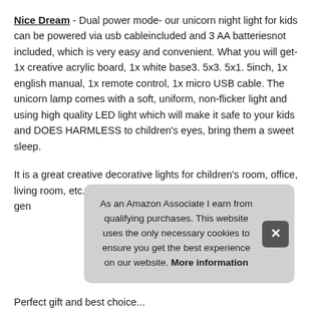Nice Dream - Dual power mode- our unicorn night light for kids can be powered via usb cableincluded and 3 AA batteriesnot included, which is very easy and convenient. What you will get- 1x creative acrylic board, 1x white base3. 5x3. 5x1. 5inch, 1x english manual, 1x remote control, 1x micro USB cable. The unicorn lamp comes with a soft, uniform, non-flicker light and using high quality LED light which will make it safe to your kids and DOES HARMLESS to children's eyes, bring them a sweet sleep.
It is a great creative decorative lights for children's room, office, living room, etc. Child safety- low voltage, double resi... gen...
As an Amazon Associate I earn from qualifying purchases. This website uses the only necessary cookies to ensure you get the best experience on our website. More information
Perfect gift and best choice...